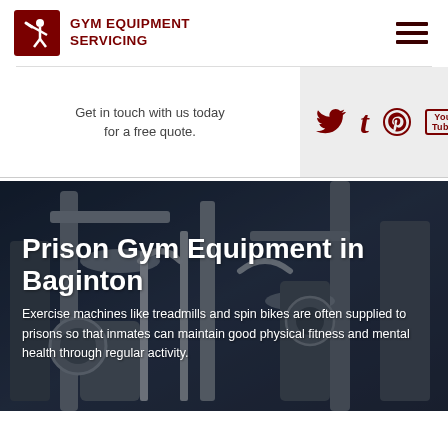GYM EQUIPMENT SERVICING
Get in touch with us today for a free quote.
[Figure (screenshot): Social media icons: Twitter bird, Tumblr t, Pinterest P, YouTube logo in dark red on light grey background]
Prison Gym Equipment in Baginton
Exercise machines like treadmills and spin bikes are often supplied to prisons so that inmates can maintain good physical fitness and mental health through regular activity.
[Figure (photo): Background photo of gym equipment machines (weight machines, cable machines) in a dark industrial gym setting with blue-tinted lighting]